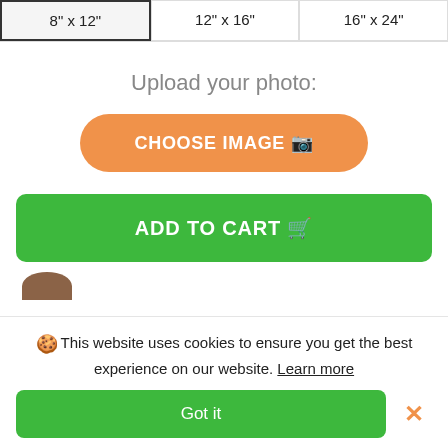| 8" x 12" | 12" x 16" | 16" x 24" |
| --- | --- | --- |
Upload your photo:
CHOOSE IMAGE
ADD TO CART
🍪 This website uses cookies to ensure you get the best experience on our website. Learn more
Got it